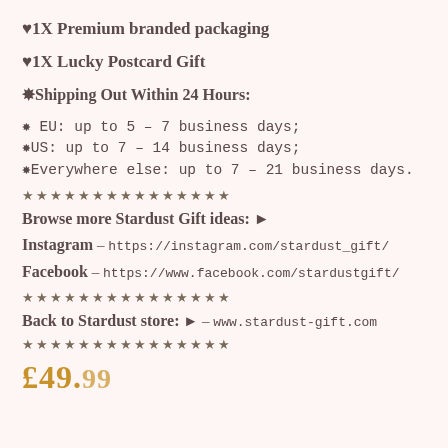♥1X Premium branded packaging
♥1X Lucky Postcard Gift
❀Shipping Out Within 24 Hours:
❀ EU: up to 5 - 7 business days;
❀US: up to 7 - 14 business days;
❀Everywhere else: up to 7 - 21 business days.
★★★★★★★★★★★★★★★
Browse more Stardust Gift ideas: ►
Instagram - https://instagram.com/stardust_gift/
Facebook - https://www.facebook.com/stardustgift/
★★★★★★★★★★★★★★★
Back to Stardust store: ► - www.stardust-gift.com
★★★★★★★★★★★★★★★